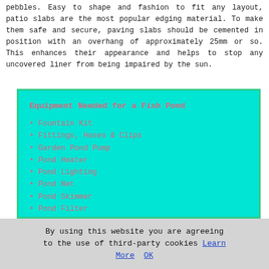pebbles. Easy to shape and fashion to fit any layout, patio slabs are the most popular edging material. To make them safe and secure, paving slabs should be cemented in position with an overhang of approximately 25mm or so. This enhances their appearance and helps to stop any uncovered liner from being impaired by the sun.
Equipment Needed for a Fish Pond
Fountain Kit
Fittings, Hoses & Clips
Garden Pond Pump
Pond Heater
Pond Lighting
Pond Net
Pond Skimmer
Pond Filter
Pond Fish
Pond Holiday Feeder
Pond Treatments
Pond Thermometer
Pond Plants
Fish Food
By using this website you are agreeing to the use of third-party cookies Learn More  OK